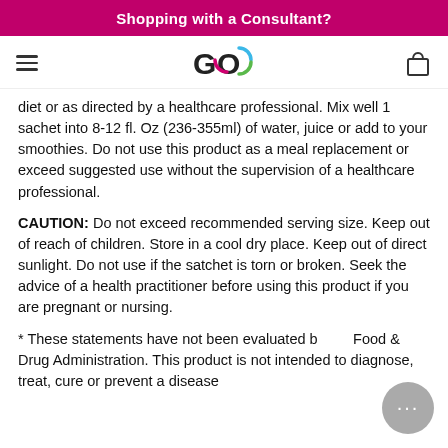Shopping with a Consultant?
[Figure (logo): GO logo with colorful circular arc, navigation bar with hamburger menu and shopping bag icon]
diet or as directed by a healthcare professional. Mix well 1 sachet into 8-12 fl. Oz (236-355ml) of water, juice or add to your smoothies. Do not use this product as a meal replacement or exceed suggested use without the supervision of a healthcare professional.
CAUTION: Do not exceed recommended serving size. Keep out of reach of children. Store in a cool dry place. Keep out of direct sunlight. Do not use if the satchet is torn or broken. Seek the advice of a health practitioner before using this product if you are pregnant or nursing.
* These statements have not been evaluated by the Food & Drug Administration. This product is not intended to diagnose, treat, cure or prevent a disease